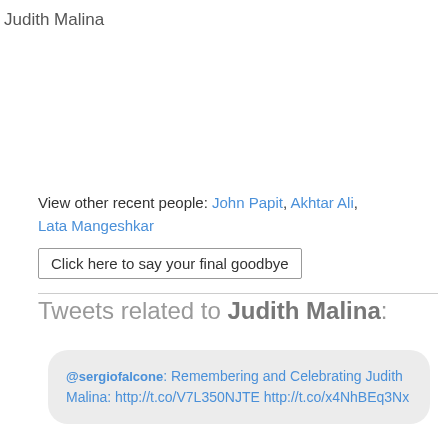Judith Malina
View other recent people: John Papit, Akhtar Ali, Lata Mangeshkar
Click here to say your final goodbye
Tweets related to Judith Malina:
@sergiofalcone: Remembering and Celebrating Judith Malina: http://t.co/V7L350NJTE http://t.co/x4NhBEq3Nx